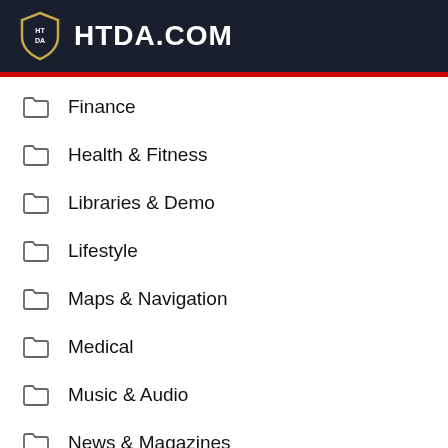HTDA.COM
Finance
Health & Fitness
Libraries & Demo
Lifestyle
Maps & Navigation
Medical
Music & Audio
News & Magazines
Parenting
Personalization